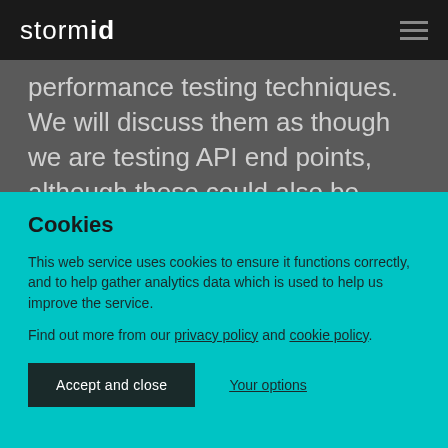stormid
performance testing techniques. We will discuss them as though we are testing API end points, although these could also be applicable to both front end and infrastructure testing as well.
Cookies
This web service uses cookies to ensure it functions correctly, and to help gather analytics data which is used to help us improve the service.
Find out more from our privacy policy and cookie policy.
Accept and close   Your options